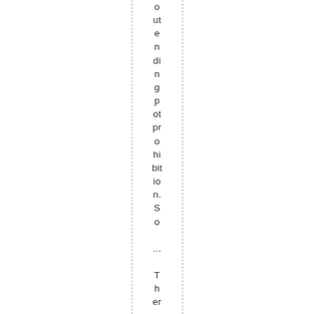o ut e n di n g p ot pr o hi bit io n. S o ... T h er e ar e n o w 3 bil